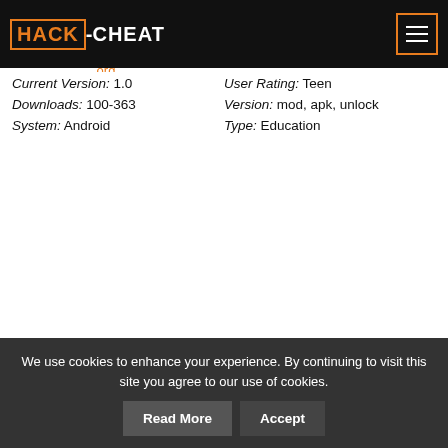HACK-CHEAT.org
Current Version: 1.0   User Rating: Teen
Downloads: 100-363   Version: mod, apk, unlock
System: Android   Type: Education
We use cookies to enhance your experience. By continuing to visit this site you agree to our use of cookies.